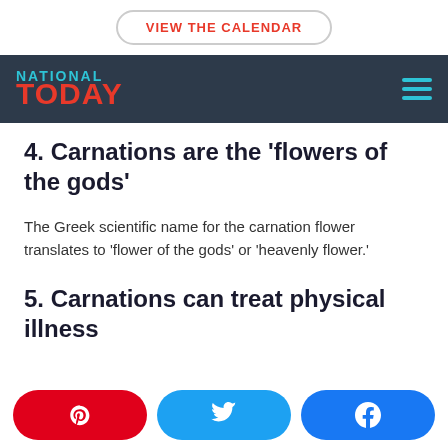VIEW THE CALENDAR
NATIONAL TODAY
4. Carnations are the 'flowers of the gods'
The Greek scientific name for the carnation flower translates to 'flower of the gods' or 'heavenly flower.'
5. Carnations can treat physical illness